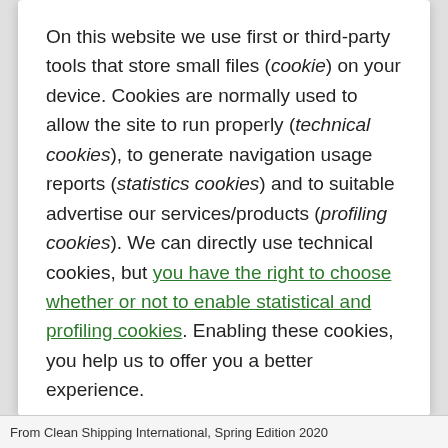On this website we use first or third-party tools that store small files (cookie) on your device. Cookies are normally used to allow the site to run properly (technical cookies), to generate navigation usage reports (statistics cookies) and to suitable advertise our services/products (profiling cookies). We can directly use technical cookies, but you have the right to choose whether or not to enable statistical and profiling cookies. Enabling these cookies, you help us to offer you a better experience.
Keep disabled
ENABLE
From Clean Shipping International, Spring Edition 2020